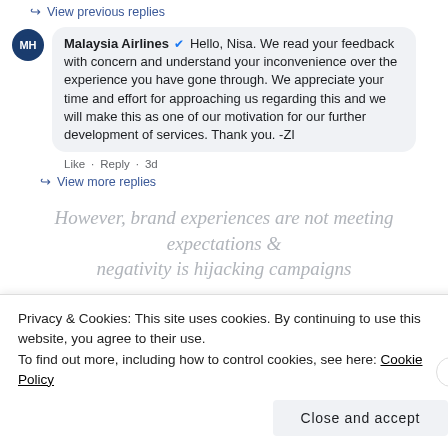↪ View previous replies
Malaysia Airlines ✔ Hello, Nisa. We read your feedback with concern and understand your inconvenience over the experience you have gone through. We appreciate your time and effort for approaching us regarding this and we will make this as one of our motivation for our further development of services. Thank you. -ZI
Like · Reply · 3d
↪ View more replies
However, brand experiences are not meeting expectations & negativity is hijacking campaigns
Weng S Cheong Spend more time + money on "improving customer experience especially your in flight products". Just finished KUL-SYD and AKL-KUL on MH, what can I say? Bad crew service with no smile, meals served is the worst I have tried, want to buy duty free products but was told no sales cart
Privacy & Cookies: This site uses cookies. By continuing to use this website, you agree to their use.
To find out more, including how to control cookies, see here: Cookie Policy
Close and accept